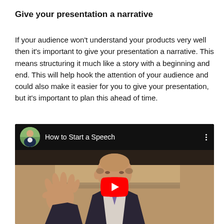Give your presentation a narrative
If your audience won't understand your products very well then it's important to give your presentation a narrative. This means structuring it much like a story with a beginning and end. This will help hook the attention of your audience and could also make it easier for you to give your presentation, but it's important to plan this ahead of time.
[Figure (screenshot): YouTube video thumbnail showing a man giving a speech, with the title 'How to Start a Speech' and a YouTube play button overlay]